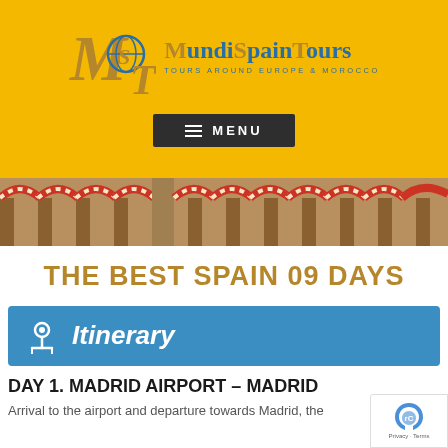[Figure (logo): MundiSpainTours logo — stylized M and S letters with a globe, blue and gold on yellow background, with tagline TOURS AROUND EUROPE & MOROCCO]
MENU
[Figure (photo): Decorative arch photo strip showing red and white striped arches typical of the Mosque–Cathedral of Córdoba]
THE BEST SPAIN 09 DAYS
Itinerary
DAY 1. MADRID AIRPORT – MADRID
Arrival to the airport and departure towards Madrid, the